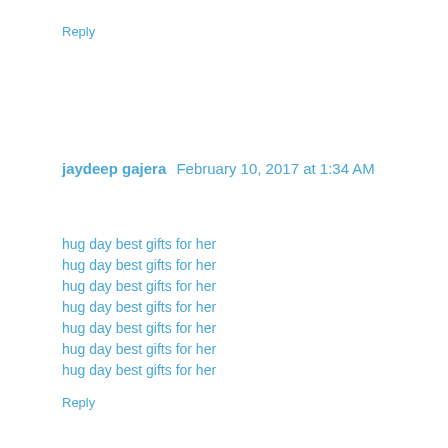Reply
jaydeep gajera  February 10, 2017 at 1:34 AM
hug day best gifts for her
hug day best gifts for her
hug day best gifts for her
hug day best gifts for her
hug day best gifts for her
hug day best gifts for her
hug day best gifts for her
Reply
jaydeep gajera  February 10, 2017 at 1:36 AM
hug day best gifts for her
hug day best gifts for her
hug day best gifts for her
hug day best gifts for her
hug day best gifts for her
promise day image